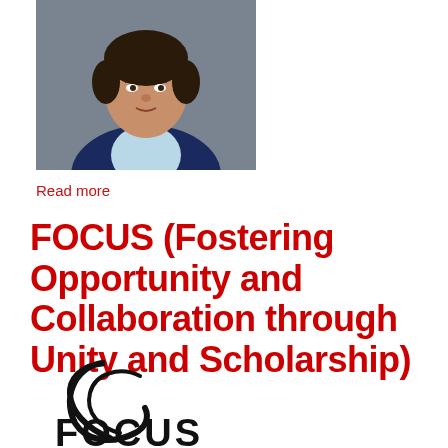[Figure (photo): Portrait photo of a woman wearing a navy blazer and light blue top with a necklace, against a grey background]
Read more
FOCUS (Fostering Opportunity and Collaboration through Unity and Scholarship)
[Figure (logo): FOCUS organization logo — partial circular swoosh mark in black with large stylized text letters partially visible at bottom]